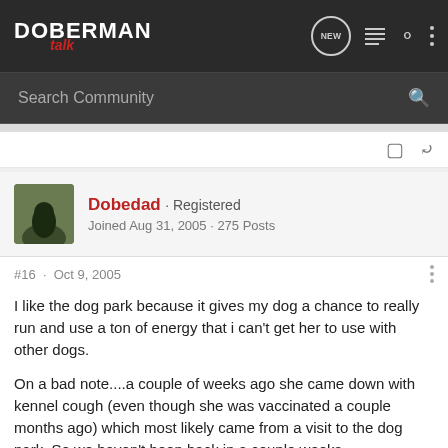DOBERMAN talk
Search Community
Dobedad · Registered
Joined Aug 31, 2005 · 275 Posts
#16 · Oct 9, 2005
I like the dog park because it gives my dog a chance to really run and use a ton of energy that i can't get her to use with other dogs.
On a bad note....a couple of weeks ago she came down with kennel cough (even though she was vaccinated a couple months ago) which most likely came from a visit to the dog park. So we haven't been back in a couple weeks.